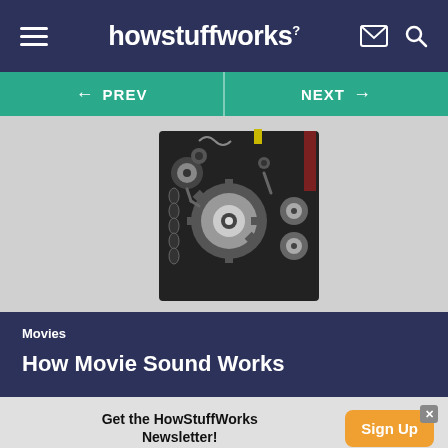howstuffworks
[Figure (screenshot): Navigation bar with PREV and NEXT buttons on teal background]
[Figure (photo): Close-up photograph of film projector mechanical parts including gears, sprockets, and rollers on a dark metal body]
Movies
How Movie Sound Works
Get the HowStuffWorks Newsletter!
Sign Up